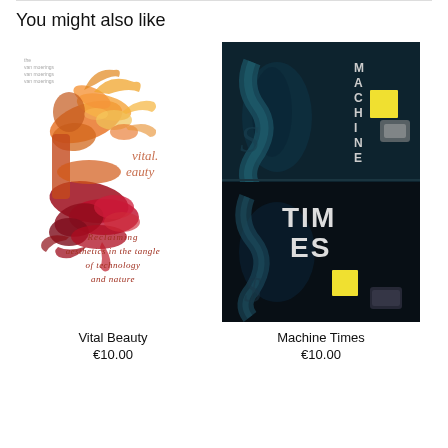You might also like
[Figure (illustration): Book cover for 'Vital Beauty' featuring a large orange and red fractal letter B with text 'vital beauty reclaiming aesthetics in the tangle of technology and nature']
Vital Beauty
€10.00
[Figure (illustration): Book cover for 'Machine Times' with dark teal/black background showing mechanical imagery and large stylized text 'MACHINE TIMES' with yellow accents]
Machine Times
€10.00